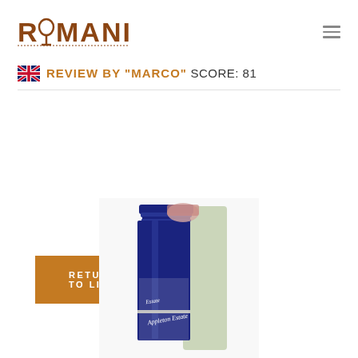RUMANIACS
REVIEW BY "MARCO" SCORE: 81
RETURN TO LIST
[Figure (photo): Close-up of a blue Appleton Estate rum bottle top, showing the neck and label against a white background. The bottle has a dark blue foil cap and a white label reading 'Appleton Estate'.]